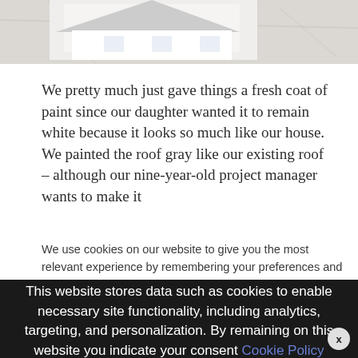[Figure (photo): Partial view of white dollhouse or model building with marble/stone surface visible, photographed from above]
We pretty much just gave things a fresh coat of paint since our daughter wanted it to remain white because it looks so much like our house. We painted the roof gray like our existing roof – although our nine-year-old project manager wants to make it
We use cookies on our website to give you the most relevant experience by remembering your preferences and repeat visits. By clicking "Accept All", you consent to the use of ALL t… provide a controlled consent.
This website stores data such as cookies to enable necessary site functionality, including analytics, targeting, and personalization. By remaining on this website you indicate your consent Cookie Policy